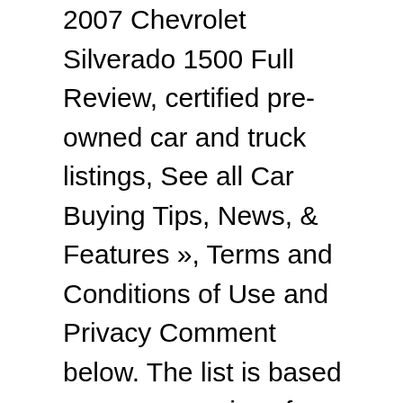2007 Chevrolet Silverado 1500 Full Review, certified pre-owned car and truck listings, See all Car Buying Tips, News, & Features », Terms and Conditions of Use and Privacy Comment below. The list is based on average prices from our used car page and matched up with reliability scores from J.D. These days I'm a much more humble and open minded person when it comes to judging brands based on reliability. You have JavaScript disabled in your browser, which may affect your experience on our website. The Crew cab seats five, while the extended cab (or Club Cab) seats two, but it can be had with a rear bench – so check listings closely to see what you are getting. The rear seat on the extended cab model is a bit...